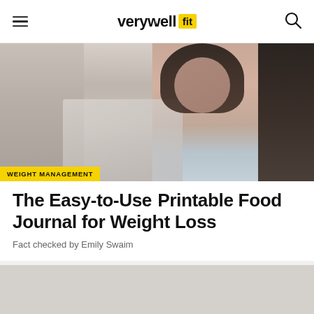verywell fit
[Figure (photo): Woman looking at phone, seated, wearing light blue sleeveless top, dark curly hair, light interior background]
WEIGHT MANAGEMENT
The Easy-to-Use Printable Food Journal for Weight Loss
Fact checked by Emily Swaim
[Figure (other): Gray advertisement placeholder block]